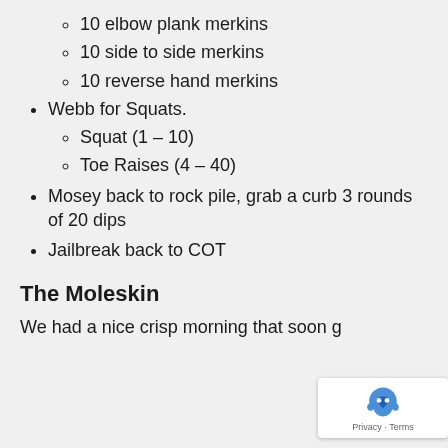10 elbow plank merkins
10 side to side merkins
10 reverse hand merkins
Webb for Squats.
Squat (1 – 10)
Toe Raises (4 – 40)
Mosey back to rock pile, grab a curb 3 rounds of 20 dips
Jailbreak back to COT
The Moleskin
We had a nice crisp morning that soon g…